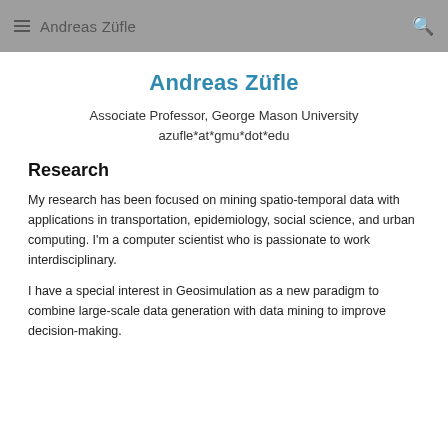Andreas Züfle
Andreas Züfle
Associate Professor, George Mason University
azufle*at*gmu*dot*edu
Research
My research has been focused on mining spatio-temporal data with applications in transportation, epidemiology, social science, and urban computing. I'm a computer scientist who is passionate to work interdisciplinary.
I have a special interest in Geosimulation as a new paradigm to combine large-scale data generation with data mining to improve decision-making.